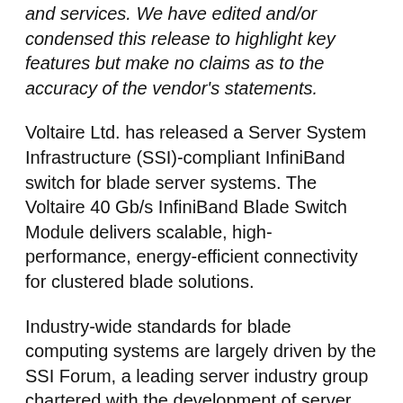and services. We have edited and/or condensed this release to highlight key features but make no claims as to the accuracy of the vendor's statements.
Voltaire Ltd. has released a Server System Infrastructure (SSI)-compliant InfiniBand switch for blade server systems. The Voltaire 40 Gb/s InfiniBand Blade Switch Module delivers scalable, high-performance, energy-efficient connectivity for clustered blade solutions.
Industry-wide standards for blade computing systems are largely driven by the SSI Forum, a leading server industry group chartered with the development of server infrastructure standards that address customer and ecosystem challenges. The Voltaire 40 Gb/s InfiniBand Blade Switch Module is the industry's first InfiniBand blade switch to comply with SSI specifications and